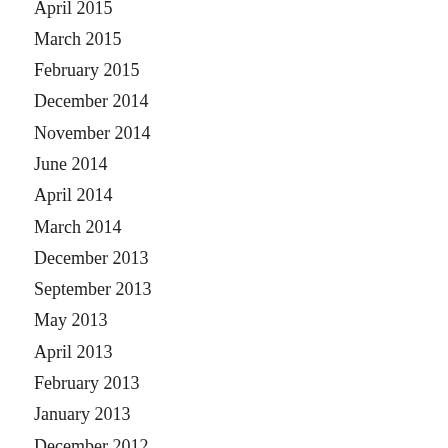April 2015
March 2015
February 2015
December 2014
November 2014
June 2014
April 2014
March 2014
December 2013
September 2013
May 2013
April 2013
February 2013
January 2013
December 2012
November 2012
September 2012